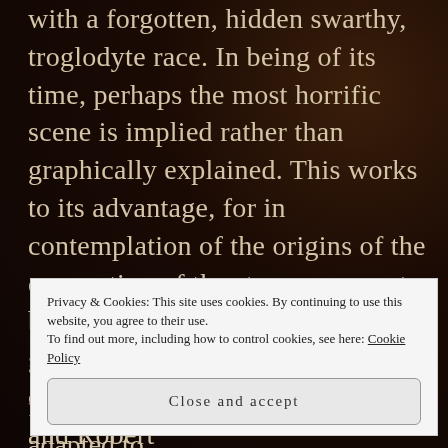with a forgotten, hidden swarthy, troglodyte race. In being of its time, perhaps the most horrific scene is implied rather than graphically explained. This works to its advantage, for in contemplation of the origins of the conception of the strange servant boy in the tale, I found myself genuinely unsettled. This tale went on to inspire both HP Lovecraft and Robert
Privacy & Cookies: This site uses cookies. By continuing to use this website, you agree to their use.
To find out more, including how to control cookies, see here: Cookie Policy
Close and accept
fitting a Folk Horror vein being adapted to